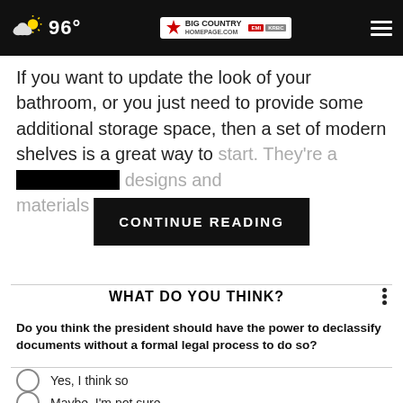96° Big Country Homepage.com
If you want to update the look of your bathroom, or you just need to provide some additional storage space, then a set of modern shelves is a great way to start. They're a designs and materials to c th your
CONTINUE READING
WHAT DO YOU THINK?
Do you think the president should have the power to declassify documents without a formal legal process to do so?
Yes, I think so
Maybe, I'm not sure